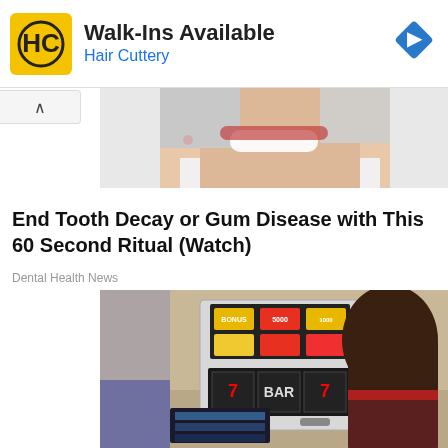[Figure (screenshot): Hair Cuttery advertisement banner with yellow HC logo, 'Walk-Ins Available' text, blue diamond arrow icon, and blue 'Hair Cuttery' subtext]
[Figure (photo): Cropped photo of a smiling woman with white-grey hair against a white background]
End Tooth Decay or Gum Disease with This 60 Second Ritual (Watch)
Dental Health News
[Figure (photo): Woman with dark hair looking at a slot machine with lit reels showing sevens in a room setting]